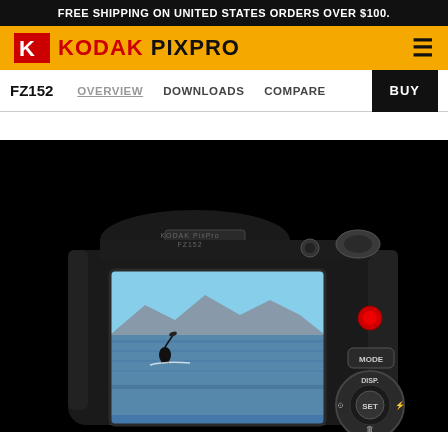FREE SHIPPING ON UNITED STATES ORDERS OVER $100.
[Figure (logo): Kodak PixPro logo with red K symbol on yellow background and hamburger menu icon]
FZ152   OVERVIEW   DOWNLOADS   COMPARE   BUY
[Figure (photo): Rear view of Kodak PixPro FZ152 digital camera showing LCD screen with kitesurfer on water, mountains in background, with MODE, DISP, SET buttons and controls visible, on black background]